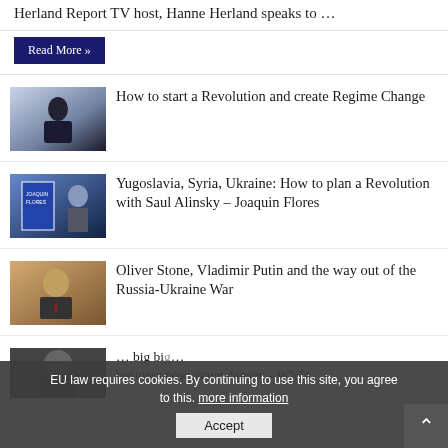Herland Report TV host, Hanne Herland speaks to …
Read More »
How to start a Revolution and create Regime Change
Yugoslavia, Syria, Ukraine: How to plan a Revolution with Saul Alinsky – Joaquin Flores
Oliver Stone, Vladimir Putin and the way out of the Russia-Ukraine War
… big business pose grave danger – WND
EU law requires cookies. By continuing to use this site, you agree to this. more information
Accept